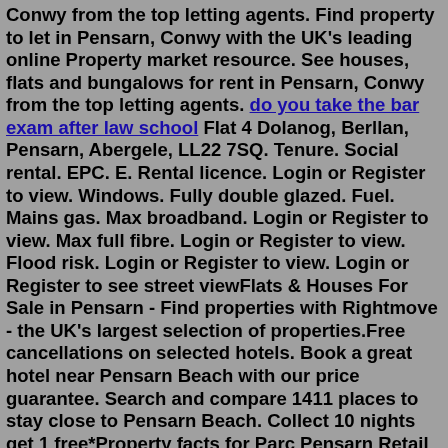Conwy from the top letting agents. Find property to let in Pensarn, Conwy with the UK's leading online Property market resource. See houses, flats and bungalows for rent in Pensarn, Conwy from the top letting agents. do you take the bar exam after law school Flat 4 Dolanog, Berllan, Pensarn, Abergele, LL22 7SQ. Tenure. Social rental. EPC. E. Rental licence. Login or Register to view. Windows. Fully double glazed. Fuel. Mains gas. Max broadband. Login or Register to view. Max full fibre. Login or Register to view. Flood risk. Login or Register to view. Login or Register to see street viewFlats & Houses For Sale in Pensarn - Find properties with Rightmove - the UK's largest selection of properties.Free cancellations on selected hotels. Book a great hotel near Pensarn Beach with our price guarantee. Search and compare 1411 places to stay close to Pensarn Beach. Collect 10 nights get 1 free*Property facts for Parc Pensarn Retail Park, Carmarthen. The property is comprised of a masonry constructed building arranged on the ground floor. The property is located